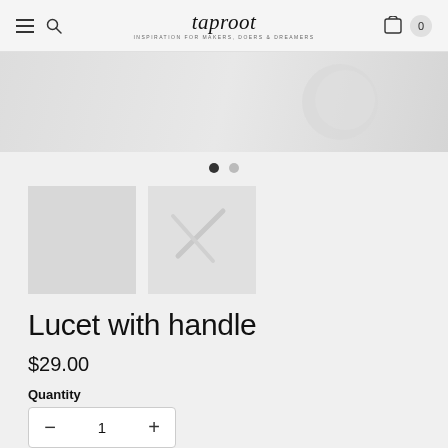taproot — INSPIRATION FOR MAKERS, DOERS & DREAMERS
[Figure (photo): Hero product image strip showing craft/knitting supplies on light background]
[Figure (photo): Thumbnail 1: plain light gray square product image of Lucet with handle]
[Figure (photo): Thumbnail 2: close-up product image showing Lucet tool detail]
Lucet with handle
$29.00
Quantity
1